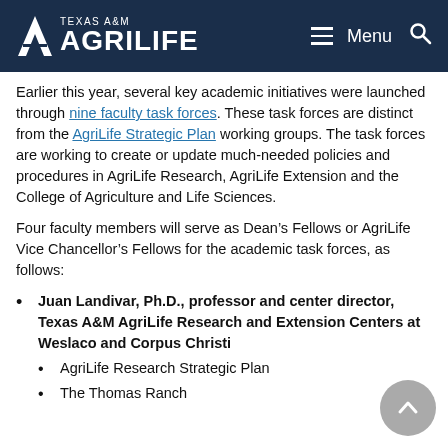Texas A&M AgriLife
Earlier this year, several key academic initiatives were launched through nine faculty task forces. These task forces are distinct from the AgriLife Strategic Plan working groups. The task forces are working to create or update much-needed policies and procedures in AgriLife Research, AgriLife Extension and the College of Agriculture and Life Sciences.
Four faculty members will serve as Dean’s Fellows or AgriLife Vice Chancellor’s Fellows for the academic task forces, as follows:
Juan Landivar, Ph.D., professor and center director, Texas A&M AgriLife Research and Extension Centers at Weslaco and Corpus Christi
AgriLife Research Strategic Plan
The Thomas Ranch